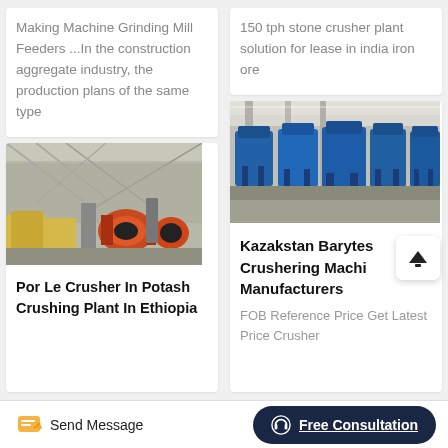Making Machine Grinding Mill Feeders ...In the construction aggregate industry, the production plans of the same type
150 tph stone crusher plant solution for lease in india iron ore
[Figure (photo): Industrial factory floor with crusher machines, yellow wrapped equipment and red/orange machinery in a large warehouse]
Por Le Crusher In Potash Crushing Plant In Ethiopia
[Figure (photo): Row of blue industrial stone crushing machines inside a large industrial building]
Kazakstan Barytes Crushering Machi Manufacturers
FOB Reference Price Get Latest Price Crusher
Send Message
Free Consultation